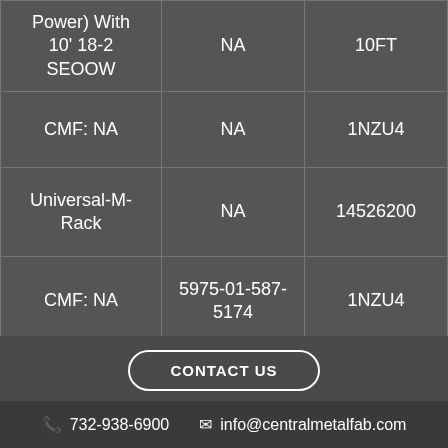| Power) With 10' 18-2 SEOOW | NA | 10FT |
| CMF: NA | NA | 1NZU4 |
| Universal-M-Rack | NA | 14526200 |
| CMF: NA | 5975-01-587-5174 | 1NZU4 |
| Universal-M-Rack – KIV- | ... | 14526250- |
CONTACT US
732-938-6900  info@centralmetalfab.com